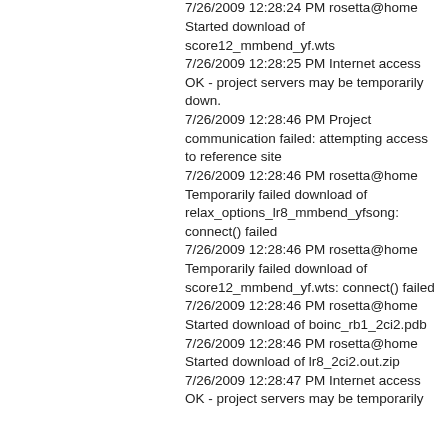Started download of relax_options_lr8_mmbend_yfsong
7/26/2009 12:28:24 PM rosetta@home Started download of score12_mmbend_yf.wts
7/26/2009 12:28:25 PM Internet access OK - project servers may be temporarily down.
7/26/2009 12:28:46 PM Project communication failed: attempting access to reference site
7/26/2009 12:28:46 PM rosetta@home Temporarily failed download of relax_options_lr8_mmbend_yfsong: connect() failed
7/26/2009 12:28:46 PM rosetta@home Temporarily failed download of score12_mmbend_yf.wts: connect() failed
7/26/2009 12:28:46 PM rosetta@home Started download of boinc_rb1_2ci2.pdb
7/26/2009 12:28:46 PM rosetta@home Started download of lr8_2ci2.out.zip
7/26/2009 12:28:47 PM Internet access OK - project servers may be temporarily